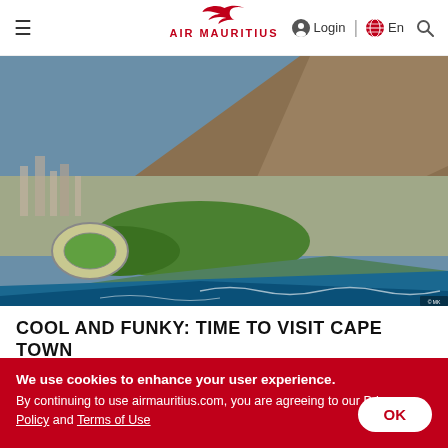Air Mauritius navigation bar with hamburger menu, Login, globe/En, and search icon
[Figure (photo): Aerial view of Cape Town, South Africa, showing the city, green parklands, a stadium, coastline with waves, and a mountain (Lion's Head) in the background]
COOL AND FUNKY: TIME TO VISIT CAPE TOWN
We use cookies to enhance your user experience. By continuing to use airmauritius.com, you are agreeing to our Privacy Policy and Terms of Use
OK